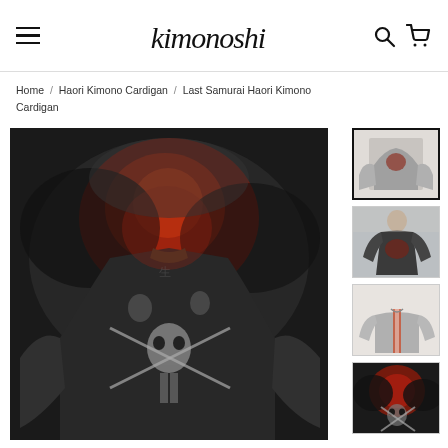kimonoshi — navigation header with menu, logo, search and cart icons
Home / Haori Kimono Cardigan / Last Samurai Haori Kimono Cardigan
[Figure (photo): Back view of a dark haori kimono cardigan with samurai battle artwork featuring skeletons, warriors, and red flame/explosion motifs on dark background]
[Figure (photo): Thumbnail 1: Front flat lay of the Last Samurai Haori Kimono Cardigan, selected/active]
[Figure (photo): Thumbnail 2: Model wearing the Last Samurai Haori Kimono Cardigan]
[Figure (photo): Thumbnail 3: Back view of the cardigan on a mannequin or flat lay]
[Figure (photo): Thumbnail 4: Detail or alternate view showing the red samurai artwork]